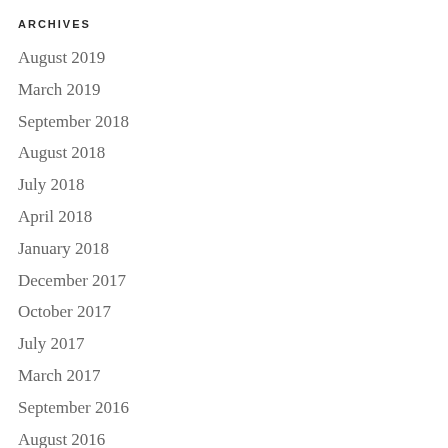ARCHIVES
August 2019
March 2019
September 2018
August 2018
July 2018
April 2018
January 2018
December 2017
October 2017
July 2017
March 2017
September 2016
August 2016